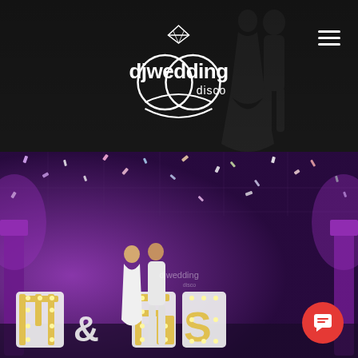[Figure (photo): DJ Wedding Disco website screenshot. Top half shows a dark-toned hero section with a silhouette of a dancing couple against a dark background, a white 'djwedding disco' logo centered with a diamond ring and interlocked rings graphic, and a hamburger menu icon in the top right. Bottom half shows a wedding reception photo with purple/violet uplighting, confetti falling, a couple dancing, and large illuminated letter signs spelling 'MR & MRS' on the dance floor. A red circular chat button appears in the bottom right corner.]